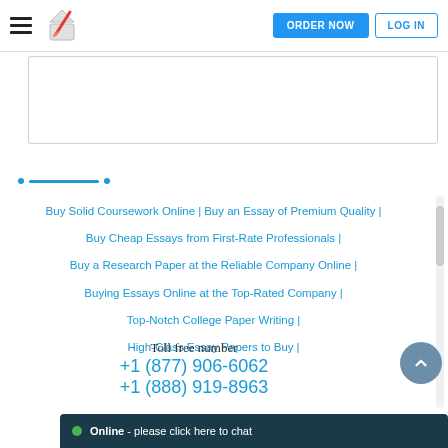ORDER NOW | LOG IN
[Figure (screenshot): White content box area below header]
[Figure (other): Horizontal divider with dots and blue line]
Buy Solid Coursework Online | Buy an Essay of Premium Quality | Buy Cheap Essays from First-Rate Professionals | Buy a Research Paper at the Reliable Company Online | Buying Essays Online at the Top-Rated Company | Top-Notch College Paper Writing | High-Class Essay Papers to Buy |
Toll free number
+1 (877) 906-6062
+1 (888) 919-8963
Online - please click here to chat